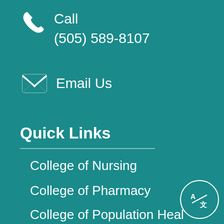Call
(505) 589-8107
Email Us
Quick Links
College of Nursing
College of Pharmacy
College of Population Health